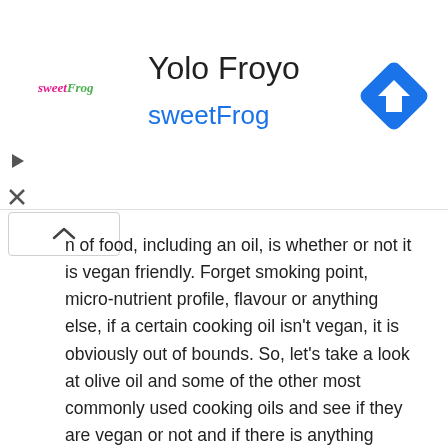[Figure (logo): sweetFrog logo with text 'Yolo Froyo' and 'sweetFrog' and a navigation diamond icon on the right]
n of food, including an oil, is whether or not it is vegan friendly. Forget smoking point, micro-nutrient profile, flavour or anything else, if a certain cooking oil isn't vegan, it is obviously out of bounds. So, let's take a look at olive oil and some of the other most commonly used cooking oils and see if they are vegan or not and if there is anything users should be aware of.
In addition to that, we'll also investigate the pros and cons and major uses of each option to help you decide which of the many available vegan oils is best for your culinary needs. Note that many of them also have applications outside the kitchen but that is not our